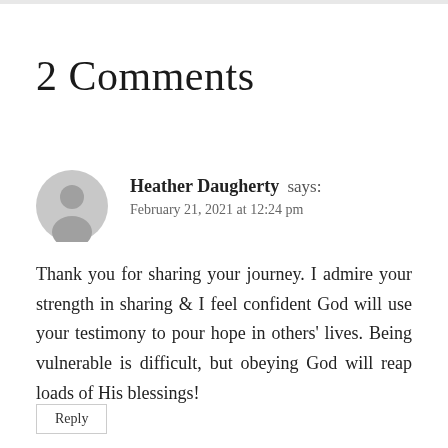2 Comments
Heather Daugherty says:
February 21, 2021 at 12:24 pm
Thank you for sharing your journey. I admire your strength in sharing & I feel confident God will use your testimony to pour hope in others' lives. Being vulnerable is difficult, but obeying God will reap loads of His blessings!